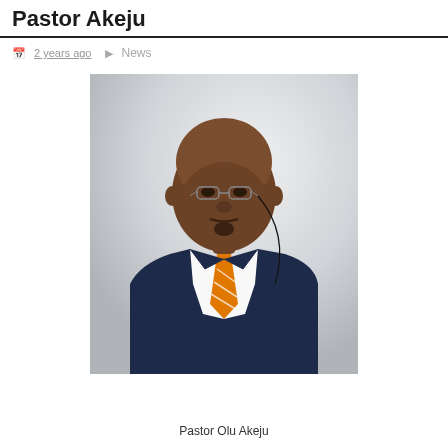Pastor Akeju
2 years ago   News
[Figure (photo): Portrait photo of Pastor Olu Akeju, a man wearing a dark navy suit, white dress shirt, and an orange and white striped tie, with rimless glasses, against a white/light grey background.]
Pastor Olu Akeju